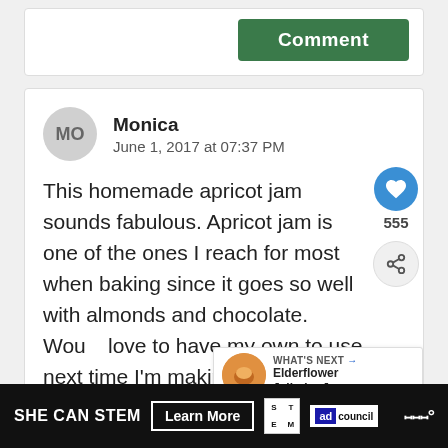Comment
MO
Monica
June 1, 2017 at 07:37 PM
This homemade apricot jam sounds fabulous. Apricot jam is one of the ones I reach for most when baking since it goes so well with almonds and chocolate. Would love to have my own to use next time I'm making something. And such a gorgeous bright color!
555
WHAT'S NEXT → Elderflower Jelly (or Ja...
SHE CAN STEM  Learn More